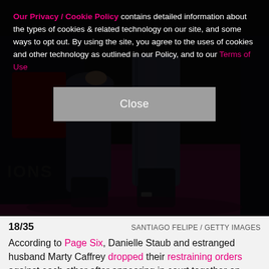Our Privacy / Cookie Policy contains detailed information about the types of cookies & related technology on our site, and some ways to opt out. By using the site, you agree to the uses of cookies and other technology as outlined in our Policy, and to our Terms of Use
[Figure (photo): Dark event photo showing people's legs and jeans on a pink/red carpet, with partial text 'IONS' visible on backdrop]
18/35   SANTIAGO FELIPE / GETTY IMAGES
According to Page Six, Danielle Staub and estranged husband Marty Caffrey dropped their restraining orders against each other after appearing in court together on Aug. 20. They still reportedly plan to end their marriage.